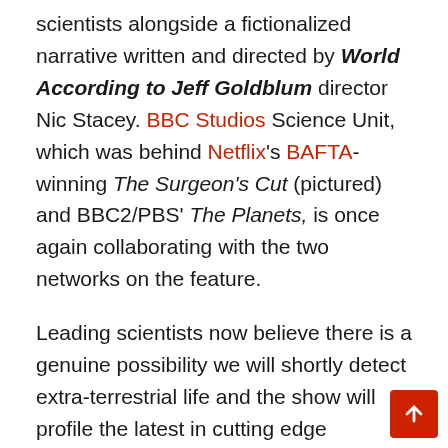scientists alongside a fictionalized narrative written and directed by World According to Jeff Goldblum director Nic Stacey. BBC Studios Science Unit, which was behind Netflix's BAFTA-winning The Surgeon's Cut (pictured) and BBC2/PBS' The Planets, is once again collaborating with the two networks on the feature.

Leading scientists now believe there is a genuine possibility we will shortly detect extra-terrestrial life and the show will profile the latest in cutting edge technology while featuring contributions from the likes of Dr Jill Tartar, a pioneer who was the inspiration for Jodie Foster's character in Contact, along with showcasing the James Webb